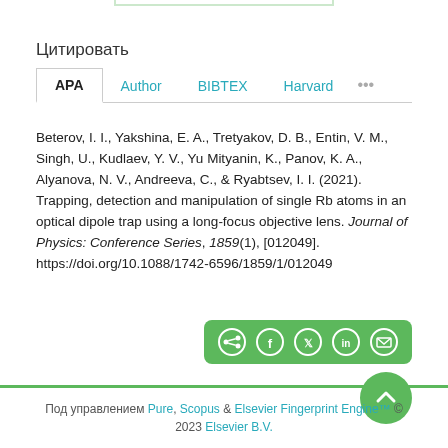Цитировать
APA   Author   BIBTEX   Harvard   ...
Beterov, I. I., Yakshina, E. A., Tretyakov, D. B., Entin, V. M., Singh, U., Kudlaev, Y. V., Yu Mityanin, K., Panov, K. A., Alyanova, N. V., Andreeva, C., & Ryabtsev, I. I. (2021). Trapping, detection and manipulation of single Rb atoms in an optical dipole trap using a long-focus objective lens. Journal of Physics: Conference Series, 1859(1), [012049]. https://doi.org/10.1088/1742-6596/1859/1/012049
[Figure (infographic): Share bar with social media icons: share, Facebook, Twitter, LinkedIn, email — on a green rounded rectangle background]
[Figure (infographic): Green circular scroll-to-top button with upward chevron arrow]
Под управлением Pure, Scopus & Elsevier Fingerprint Engine™ © 2023 Elsevier B.V.